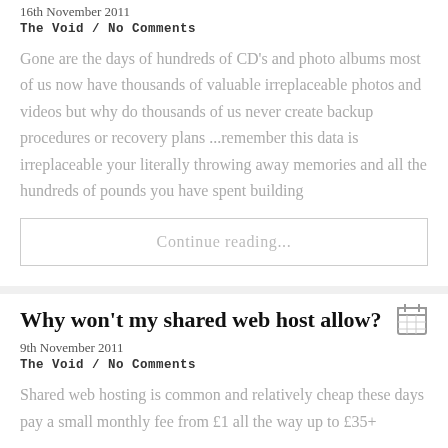16th November 2011
The Void / No Comments
Gone are the days of hundreds of CD's and photo albums most of us now have thousands of valuable irreplaceable photos and videos but why do thousands of us never create backup procedures or recovery plans ...remember this data is irreplaceable your literally throwing away memories and all the hundreds of pounds you have spent building
Continue reading...
Why won't my shared web host allow?
9th November 2011
The Void / No Comments
Shared web hosting is common and relatively cheap these days pay a small monthly fee from £1 all the way up to £35+